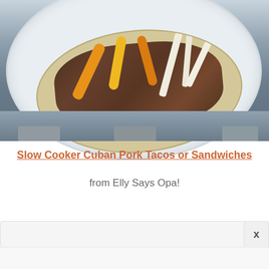[Figure (photo): Overhead photo of a slow cooker Cuban pork taco on a white plate with a flour tortilla topped with shredded dark pulled pork, orange and yellow bell pepper strips, and white jicama strips. The plate sits on a gray table surface.]
Slow Cooker Cuban Pork Tacos or Sandwiches
from Elly Says Opa!